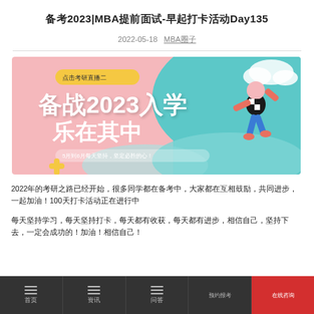备考2023|MBA提前面试-早起打卡活动Day135
2022-05-18  MBA圈子
[Figure (illustration): Promotional banner for 备战2023入学 乐在其中 MBA exam preparation campaign, featuring illustrated character running, pink and teal background with decorative shapes]
2022年的考研之路已经开始，很多同学都在备考中，大家都在互相鼓励，共同进步，一起加油！100天打卡活动正在进行中
每天坚持学习，每天坚持打卡，每天都有收获，每天都有进步，相信自己，坚持下去，一定会成功的！加油！相信自己！
首页  资讯  问答  预约报考  在线咨询